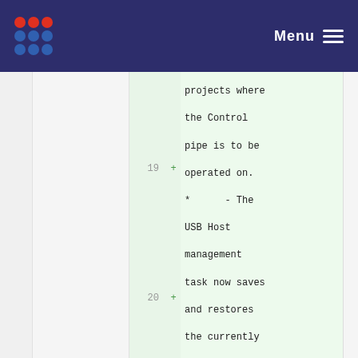Menu
projects where the Control pipe is to be operated on.
19 + *      - The USB Host management task now saves and restores the currently selected pipe before and after the task runs. Projects no longer
20 + *      need to manage this manually when calling the USB management